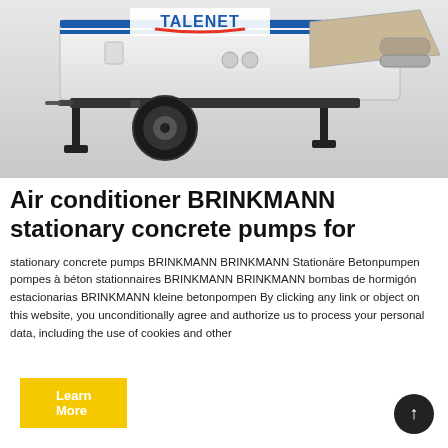[Figure (photo): White concrete pump machine with black wheels and TALENET branding, on trailer frame with outrigger legs, photographed from a low angle against a light grey background.]
Air conditioner BRINKMANN stationary concrete pumps for
stationary concrete pumps BRINKMANN BRINKMANN Stationäre Betonpumpen pompes à béton stationnaires BRINKMANN BRINKMANN bombas de hormigón estacionarias BRINKMANN kleine betonpompen By clicking any link or object on this website, you unconditionally agree and authorize us to process your personal data, including the use of cookies and other
Learn More